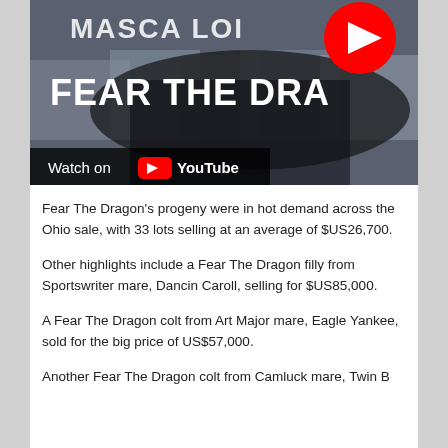[Figure (screenshot): YouTube video thumbnail showing a harness racing horse with the text 'FEAR THE DRA[GON]' overlaid in white bold letters, a red YouTube play button in the upper right, and a 'Watch on YouTube' bar at the bottom.]
Fear The Dragon's progeny were in hot demand across the Ohio sale, with 33 lots selling at an average of $US26,700.
Other highlights include a Fear The Dragon filly from Sportswriter mare, Dancin Caroll, selling for $US85,000.
A Fear The Dragon colt from Art Major mare, Eagle Yankee, sold for the big price of US$57,000.
Another Fear The Dragon colt from Camluck mare, Twin B